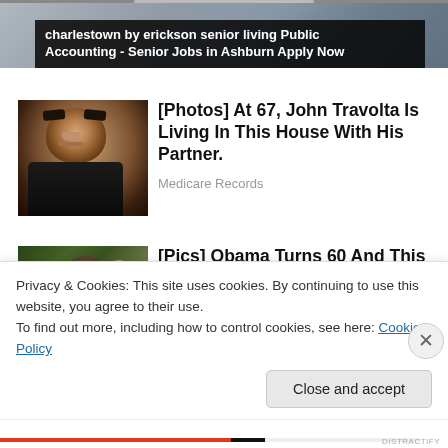[Figure (screenshot): Top banner area with photo background and dark overlay containing advertisement text]
charlestown by erickson senior living Public Accounting - Senior Jobs in Ashburn Apply Now
[Figure (photo): Photo of young John Travolta in black leather jacket looking directly at camera]
[Photos] At 67, John Travolta Is Living In This House With His Partner.
Medicare Records
[Figure (photo): Photo of Obama with family outdoors]
[Pics] Obama Turns 60 And This Is The House He Lives In
Privacy & Cookies: This site uses cookies. By continuing to use this website, you agree to their use.
To find out more, including how to control cookies, see here: Cookie Policy
Close and accept